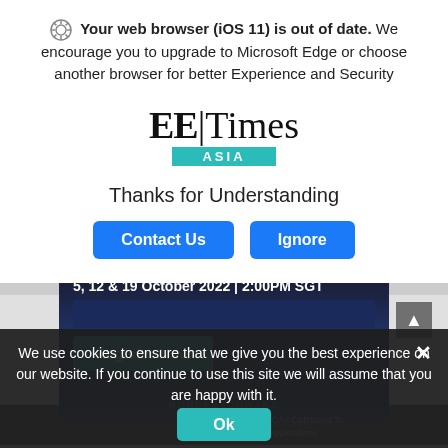Your web browser (iOS 11) is out of date. We encourage you to upgrade to Microsoft Edge or choose another browser for better Experience and Security
[Figure (logo): EE Times Asia logo — bold serif EE|Times with teal ASIA bar beneath]
Thanks for Understanding
Contact Us   Ignore
[Figure (screenshot): Background webpage showing an advertisement card with text '5, 12 & 19 October 2022 | 2:00PM SGT' and a 'Register Now' button on a dark blue background, partially visible behind the modal overlay]
We use cookies to ensure that we give you the best experience on our website. If you continue to use this site we will assume that you are happy with it.
Ok